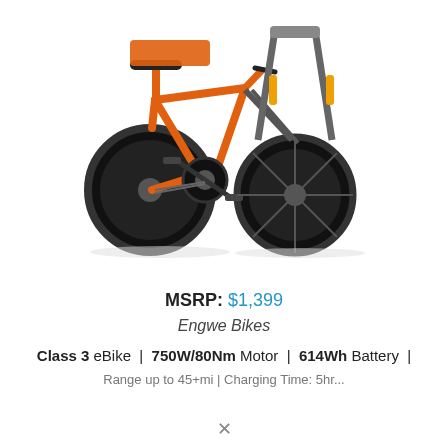[Figure (photo): Two orange folding fat-tire e-bikes shown side by side on a white background. Left bike shows rear/side view with orange frame, fat black tires, chainring, and pedals visible. Right bike shows front wheel close-up with dark spoke fat tire.]
MSRP: $1,399
Engwe Bikes
Class 3 eBike  |  750W/80Nm Motor  |  614Wh Battery  |
Range up to 45+mi | Charging Time: 5hr...